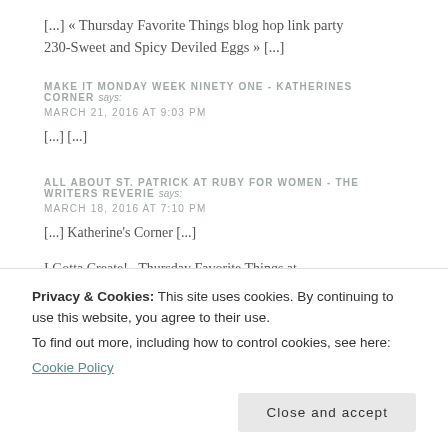[...] « Thursday Favorite Things blog hop link party 230-Sweet and Spicy Deviled Eggs » [...]
MAKE IT MONDAY WEEK NINETY ONE - KATHERINES CORNER says:
MARCH 21, 2016 AT 9:03 PM
[...] [...]
ALL ABOUT ST. PATRICK AT RUBY FOR WOMEN - THE WRITERS REVERIE says:
MARCH 18, 2016 AT 7:10 PM
[...] Katherine's Corner [...]
Privacy & Cookies: This site uses cookies. By continuing to use this website, you agree to their use.
To find out more, including how to control cookies, see here: Cookie Policy
Close and accept
I Gotta Create!   Thursday Favorite Things at